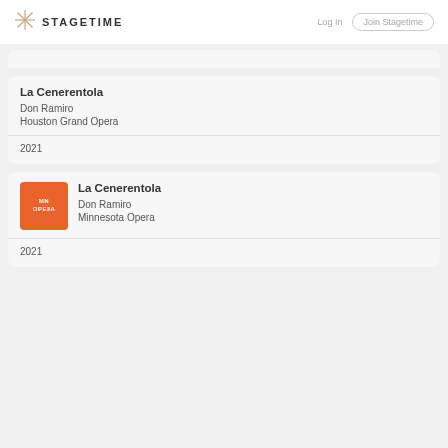STAGETIME  Log In  Join Stagetime
La Cenerentola
Don Ramiro
Houston Grand Opera
2021
[Figure (logo): Minnesota Opera orange square logo with MN OPERA text]
La Cenerentola
Don Ramiro
Minnesota Opera
2021